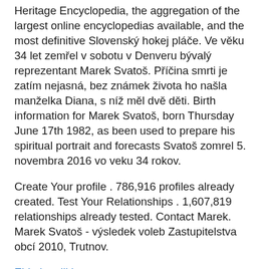Heritage Encyclopedia, the aggregation of the largest online encyclopedias available, and the most definitive Slovenský hokej pláče. Ve věku 34 let zemřel v sobotu v Denveru bývalý reprezentant Marek Svatoš. Příčina smrti je zatím nejasná, bez známek života ho našla manželka Diana, s níž měl dvě děti. Birth information for Marek Svatoš, born Thursday June 17th 1982, as been used to prepare his spiritual portrait and forecasts Svatoš zomrel 5. novembra 2016 vo veku 34 rokov.
Create Your profile . 786,916 profiles already created. Test Your Relationships . 1,607,819 relationships already tested. Contact Marek. Marek Svatoš - výsledek voleb Zastupitelstva obcí 2010, Trutnov.
Elritning till hus